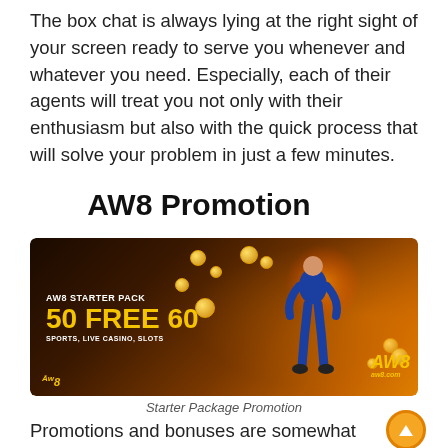The box chat is always lying at the right sight of your screen ready to serve you whenever and whatever you need. Especially, each of their agents will treat you not only with their enthusiasm but also with the quick process that will solve your problem in just a few minutes.
AW8 Promotion
[Figure (photo): AW8 promotional banner with dark/orange background showing 'AW8 STARTER PACK 50 FREE 60 SPORTS, LIVE CASINO, SLOTS' text in yellow, an athlete in blue jersey, casino chips and dice scattered around, AW8 logo and aw8.com branding.]
Starter Package Promotion
Promotions and bonuses are somewhat mattered the most to keep customers staying longer on their website. Aw8